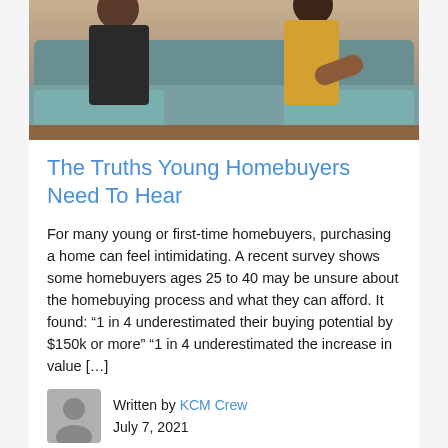[Figure (photo): Photo of two people sitting on a blue-green/teal couch, one wearing a yellow top, viewed from above/front. Wooden floor visible.]
The Truths Young Homebuyers Need To Hear
For many young or first-time homebuyers, purchasing a home can feel intimidating. A recent survey shows some homebuyers ages 25 to 40 may be unsure about the homebuying process and what they can afford. It found: “1 in 4 underestimated their buying potential by $150k or more” “1 in 4 underestimated the increase in value [...]
Written by KCM Crew
July 7, 2021